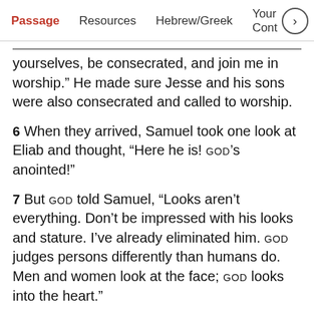Passage   Resources   Hebrew/Greek   Your Cont
yourselves, be consecrated, and join me in worship.” He made sure Jesse and his sons were also consecrated and called to worship.
6 When they arrived, Samuel took one look at Eliab and thought, “Here he is! God’s anointed!”
7 But God told Samuel, “Looks aren’t everything. Don’t be impressed with his looks and stature. I’ve already eliminated him. God judges persons differently than humans do. Men and women look at the face; God looks into the heart.”
8 Jesse then called up Abinadab and presented him to Samuel. Samuel said, “This man isn’t God’s choice either.”
9 Next Jesse presented Shammah. Samuel said